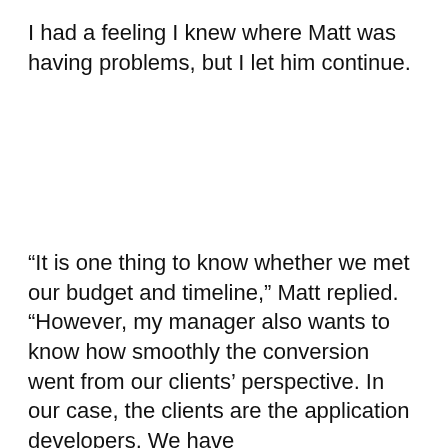I had a feeling I knew where Matt was having problems, but I let him continue.
“It is one thing to know whether we met our budget and timeline,” Matt replied. “However, my manager also wants to know how smoothly the conversion went from our clients’ perspective. In our case, the clients are the application developers. We have